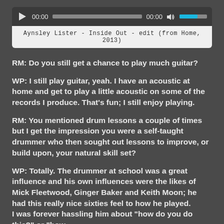[Figure (screenshot): Audio player widget showing play button, 00:00 time display, progress bar, 00:00 duration, volume icon, and blue volume bar]
Aynsley Lister - Inside Out - edit (from Home, 2013)
RM: Do you still get a chance to play much guitar?
WP: I still play guitar, yeah. I have an acoustic at home and get to play a little acoustic on some of the records I produce. That's fun; I still enjoy playing.
RM: You mentioned drum lessons a couple of times but I get the impression you were a self-taught drummer who then sought out lessons to improve, or build upon, your natural skill set?
WP: Totally. The drummer at school was a great influence and his own influences were the likes of Mick Fleetwood, Ginger Baker and Keith Moon; he had this really nice sixties feel to how he played. I was forever hassling him about "how do you do this?" or "how